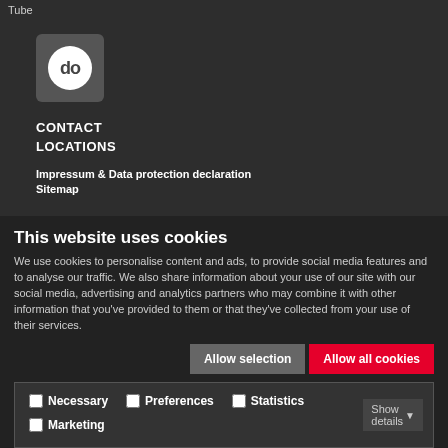Tube
[Figure (logo): Gray rounded square logo box with white circle containing 'do' text in dark]
CONTACT
LOCATIONS
Impressum & Data protection declaration
Sitemap
This website uses cookies
We use cookies to personalise content and ads, to provide social media features and to analyse our traffic. We also share information about your use of our site with our social media, advertising and analytics partners who may combine it with other information that you've provided to them or that they've collected from your use of their services.
Allow selection | Allow all cookies
Necessary  Preferences  Statistics  Marketing  Show details